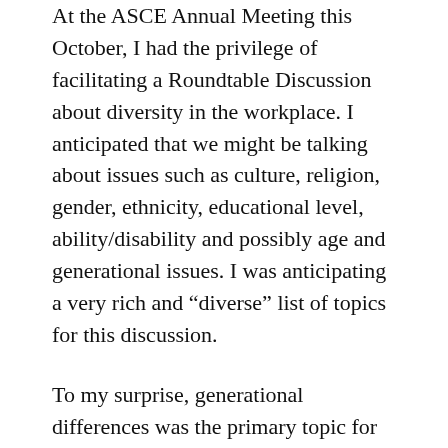At the ASCE Annual Meeting this October, I had the privilege of facilitating a Roundtable Discussion about diversity in the workplace. I anticipated that we might be talking about issues such as culture, religion, gender, ethnicity, educational level, ability/disability and possibly age and generational issues. I was anticipating a very rich and “diverse” list of topics for this discussion.
To my surprise, generational differences was the primary topic for this Roundtable Discussion. There were nine people at our table with representation from both sub-sets of the Baby Boomer group, as well as, the Gen Xers, and Millennials (Gen Y). There seemed to be a strong disconnect between the Millennials and